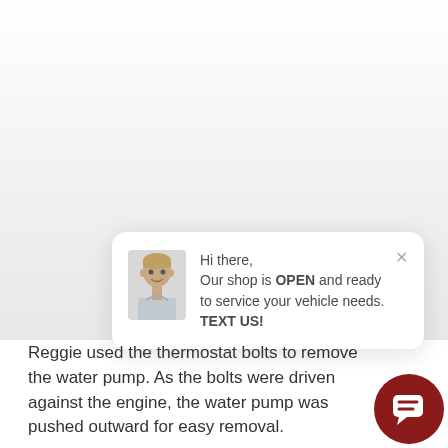[Figure (screenshot): A chat popup widget showing a person avatar with message: 'Hi there, Our shop is OPEN and ready to service your vehicle needs. TEXT US!' with an X close button, and a dark red chat bubble icon button in the bottom right corner.]
Reggie used the thermostat bolts to remove the water pump. As the bolts were driven against the engine, the water pump was pushed outward for easy removal.